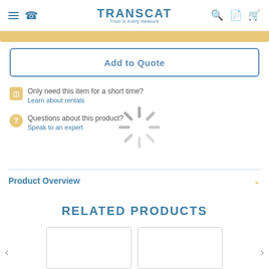TRANSCAT — Trust in every measure
Add to Quote
Only need this item for a short time? Learn about rentals
Questions about this product? Speak to an expert
[Figure (other): Loading spinner animation overlay]
Product Overview
RELATED PRODUCTS